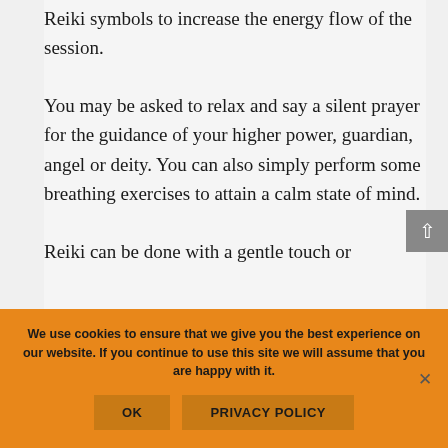Reiki symbols to increase the energy flow of the session.
You may be asked to relax and say a silent prayer for the guidance of your higher power, guardian, angel or deity. You can also simply perform some breathing exercises to attain a calm state of mind.
Reiki can be done with a gentle touch or
We use cookies to ensure that we give you the best experience on our website. If you continue to use this site we will assume that you are happy with it.
OK
PRIVACY POLICY